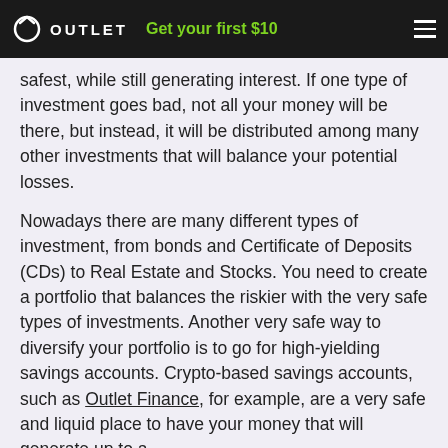OUTLET — Get your first $10
safest, while still generating interest. If one type of investment goes bad, not all your money will be there, but instead, it will be distributed among many other investments that will balance your potential losses.
Nowadays there are many different types of investment, from bonds and Certificate of Deposits (CDs) to Real Estate and Stocks. You need to create a portfolio that balances the riskier with the very safe types of investments. Another very safe way to diversify your portfolio is to go for high-yielding savings accounts. Crypto-based savings accounts, such as Outlet Finance, for example, are a very safe and liquid place to have your money that will generate up to a